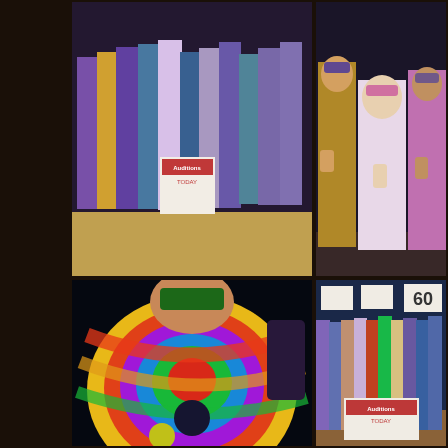[Figure (photo): Group of performers in colorful costumes and robes on stage, with a sign reading 'Auditions Today' visible]
[Figure (photo): Close-up of performers wearing masquerade masks and colorful costumes, raising fists]
[Figure (photo): Close-up of a performer in a rainbow tie-dye shirt wearing a green masquerade mask]
[Figure (photo): Large group of costumed performers on stage with signs including '60' and other cards, 'Auditions Today' sign visible]
[Figure (photo): Choir group all dressed in black with sunglasses performing on stage with colorful striped risers]
[Figure (photo): Performers in black outfits with green scarves/accessories raising hands and performing on stage with striped risers]
[Figure (photo): Partial view of a performer at bottom of image]